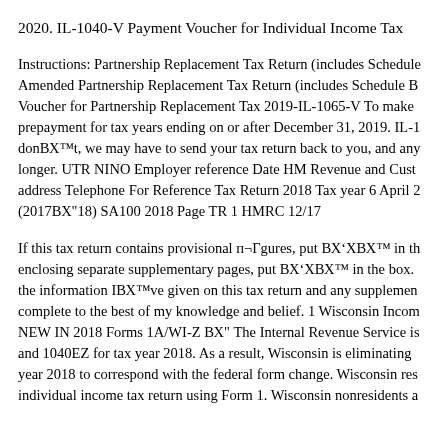2020. IL-1040-V Payment Voucher for Individual Income Tax
Instructions: Partnership Replacement Tax Return (includes Schedule Amended Partnership Replacement Tax Return (includes Schedule B Voucher for Partnership Replacement Tax 2019-IL-1065-V To make prepayment for tax years ending on or after December 31, 2019. IL-1 donвЂ™t, we may have to send your tax return back to you, and any longer. UTR NINO Employer reference Date HM Revenue and Cust address Telephone For Reference Tax Return 2018 Tax year 6 April 2 (2017вЂ"18) SA100 2018 Page TR 1 HMRC 12/17
If this tax return contains provisional п¬Ѓgures, put вЂ˜XвЂ™ in th enclosing separate supplementary pages, put вЂ˜XвЂ™ in the box. the information IвЂ™ve given on this tax return and any supplemen complete to the best of my knowledge and belief. 1 Wisconsin Incom NEW IN 2018 Forms 1A/WI-Z вЂ" The Internal Revenue Service is and 1040EZ for tax year 2018. As a result, Wisconsin is eliminating year 2018 to correspond with the federal form change. Wisconsin res individual income tax return using Form 1. Wisconsin nonresidents a